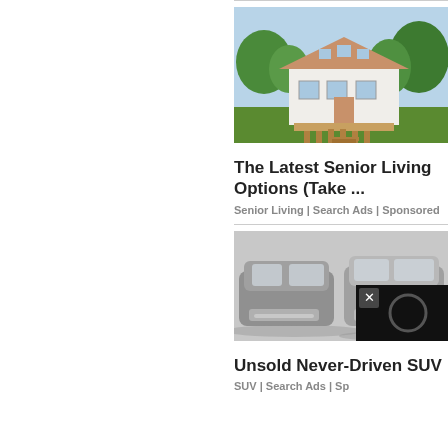[Figure (photo): Photo of a small white cottage-style house with a wooden deck, surrounded by trees and greenery — advertisement image for senior living]
The Latest Senior Living Options (Take ...
Senior Living | Search Ads | Sponsored
[Figure (photo): Photo of dark grey SUVs parked — advertisement image for unsold never-driven SUVs. Partially obscured by a dark video overlay with a circle/loading indicator and an X close button.]
Unsold Never-Driven SUV
SUV | Search Ads | Sp